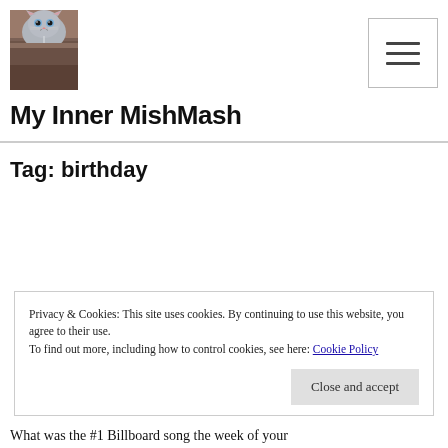[Figure (photo): Photo of a grey cat peeking over a wooden shelf/furniture edge, looking at camera]
My Inner MishMash
Tag: birthday
Privacy & Cookies: This site uses cookies. By continuing to use this website, you agree to their use.
To find out more, including how to control cookies, see here: Cookie Policy
Close and accept
What was the #1 Billboard song the week of your